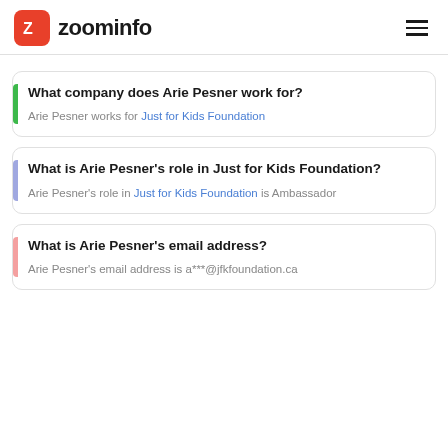zoominfo
What company does Arie Pesner work for?
Arie Pesner works for Just for Kids Foundation
What is Arie Pesner's role in Just for Kids Foundation?
Arie Pesner's role in Just for Kids Foundation is Ambassador
What is Arie Pesner's email address?
Arie Pesner's email address is a***@jfkfoundation.ca